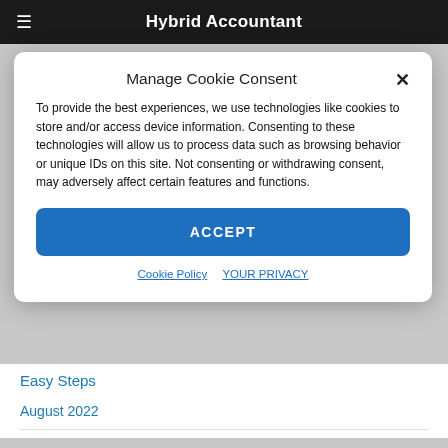Hybrid Accountant
Manage Cookie Consent
To provide the best experiences, we use technologies like cookies to store and/or access device information. Consenting to these technologies will allow us to process data such as browsing behavior or unique IDs on this site. Not consenting or withdrawing consent, may adversely affect certain features and functions.
ACCEPT
Cookie Policy   YOUR PRIVACY
Easy Steps
August 2022